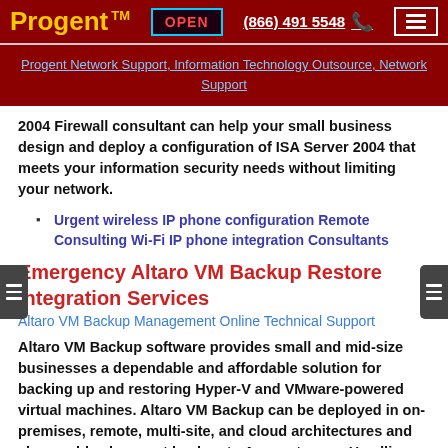Progent ™  OPEN  (866) 491 5548  ☎  ≡
Progent Network Support, Information Technology Outsource, Network Support
2004 Firewall consultant can help your small business design and deploy a configuration of ISA Server 2004 that meets your information security needs without limiting your network.
Urgent wireless IP phone configuration Remote Consulting Wi-Fi IP phone integration Consultants
Emergency Altaro VM Backup Restore Integration Services
Altaro VM Backup Management Online Technical Support
Altaro VM Backup software provides small and mid-size businesses a dependable and affordable solution for backing up and restoring Hyper-V and VMware-powered virtual machines. Altaro VM Backup can be deployed in on-premises, remote, multi-site, and cloud architectures and also enables low-cost backup to Azure storage. Headline features include